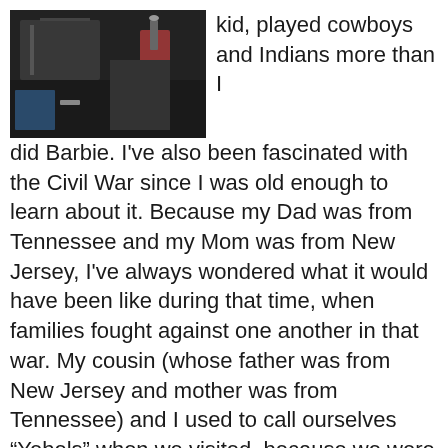[Figure (photo): A dark photograph showing what appears to be a desk or workspace with some items, taken indoors.]
kid, played cowboys and Indians more than I did Barbie.  I've also been fascinated with the Civil War since I was old enough to learn about it.  Because my Dad was from Tennessee and my Mom was from New Jersey, I've always wondered what it would have been like during that time, when families fought against one another in that war.  My cousin (whose father was from New Jersey and mother was from Tennessee) and I used to call ourselves “Yebels” when we visited, because we were both half Yankee and half Rebel. If I could say I had a “model” in what impressed me to write about the west and the Civil War in my seven book